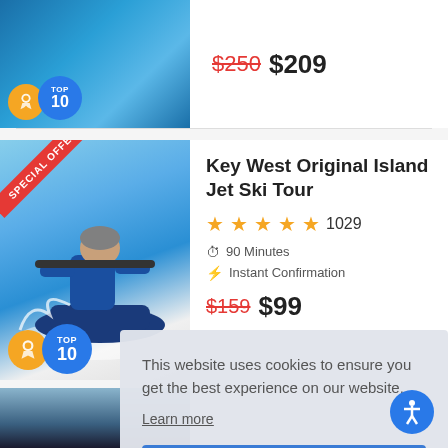[Figure (photo): Swimming/water activity photo with orange award badge and blue TOP 10 badge overlay]
$250 $209
[Figure (photo): Jet ski rider on water with SPECIAL OFFER ribbon, orange award badge and blue TOP 10 badge]
Key West Original Island Jet Ski Tour
★★★★★ 1029
90 Minutes
Instant Confirmation
$159 $99
This website uses cookies to ensure you get the best experience on our website.
Learn more
OK, got it!